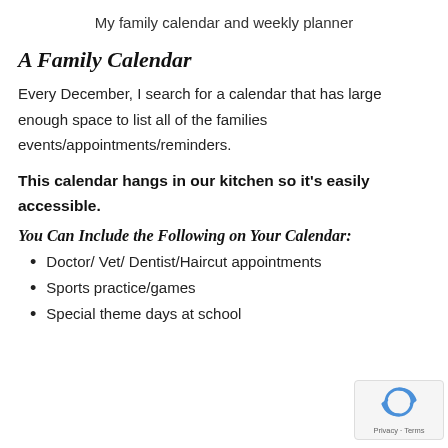My family calendar and weekly planner
A Family Calendar
Every December, I search for a calendar that has large enough space to list all of the families events/appointments/reminders.
This calendar hangs in our kitchen so it's easily accessible.
You Can Include the Following on Your Calendar:
Doctor/ Vet/ Dentist/Haircut appointments
Sports practice/games
Special theme days at school